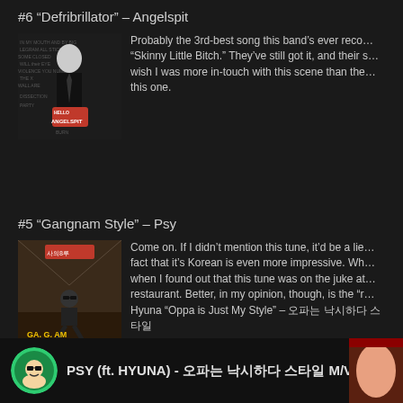#6 “Defribrillator” – Angelspit
[Figure (photo): Album art for Angelspit - black and white image of figure in suit with word-collage background and HELLO ANGELSPIT name tag]
Probably the 3rd-best song this band’s ever reco… “Skinny Little Bitch.” They’ve still got it, and their s… wish I was more in-touch with this scene than the… this one.
#5 “Gangnam Style” – Psy
[Figure (photo): Gangnam Style music video screenshot showing Psy in sunglasses with GA. G. AM STYLE text]
Come on. If I didn’t mention this tune, it’d be a lie… fact that it’s Korean is even more impressive. Wh… when I found out that this tune was on the juke at… restaurant. Better, in my opinion, though, is the “r… Hyuna “Oppa is Just My Style” – 오빠는 낙시하다 스타일
[Figure (screenshot): YouTube video thumbnail showing PSY ft. HYUNA music video M/V with circular PSY avatar and woman's face]